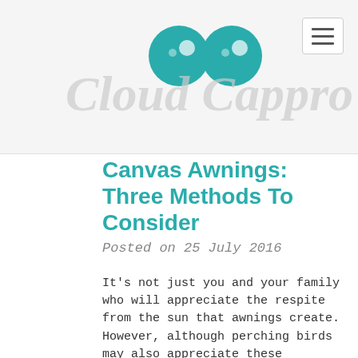Cloud Capprod
Canvas Awnings: Three Methods To Consider
Posted on 25 July 2016
It's not just you and your family who will appreciate the respite from the sun that awnings create. However, although perching birds may also appreciate these installations, they're more likely to leave their excrement behind as a token of appreciation, which presents a cleaning dilemma. If you've got